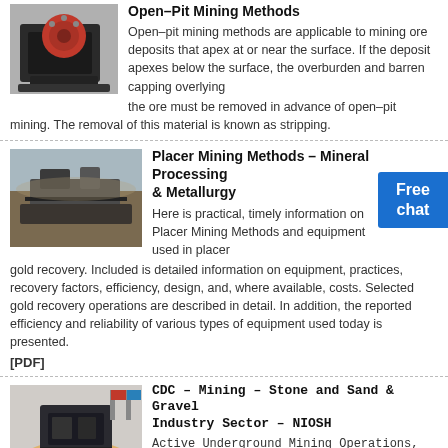[Figure (photo): Jaw crusher machine with red flywheel]
Open-Pit Mining Methods
Open-pit mining methods are applicable to mining ore deposits that apex at or near the surface. If the deposit apexes below the surface, the overburden and barren capping overlying the ore must be removed in advance of open-pit mining. The removal of this material is known as stripping.
[Figure (photo): Aerial view of open-pit placer mining operation]
Placer Mining Methods – Mineral Processing & Metallurgy
Here is practical, timely information on Placer Mining Methods and equipment used in placer gold recovery. Included is detailed information on equipment, practices, recovery factors, efficiency, design, and, where available, costs. Selected gold recovery operations are described in detail. In addition, the reported efficiency and reliability of various types of equipment used today is presented.
[PDF]
[Figure (photo): Industrial mining equipment in a facility with flags]
CDC – Mining – Stone and Sand & Gravel Industry Sector – NIOSH
Active Underground Mining Operations, 2017 (Stone and Sand & Gravel Industry Sector): Map of the United States displaying the locations of active underground